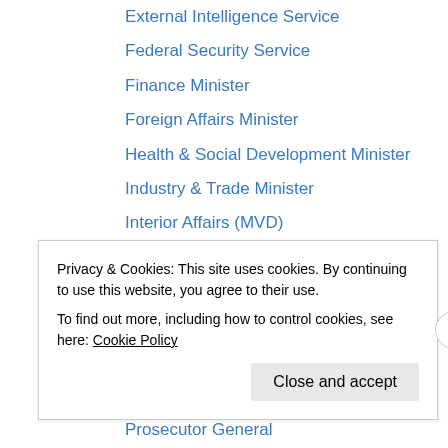External Intelligence Service
Federal Security Service
Finance Minister
Foreign Affairs Minister
Health & Social Development Minister
Industry & Trade Minister
Interior Affairs (MVD)
Justice Minister
Natural Resources Minister
Prime Minister
Dmitry A Medvedev
Dmitry Peskov
Prosecutor General
Privacy & Cookies: This site uses cookies. By continuing to use this website, you agree to their use.
To find out more, including how to control cookies, see here: Cookie Policy